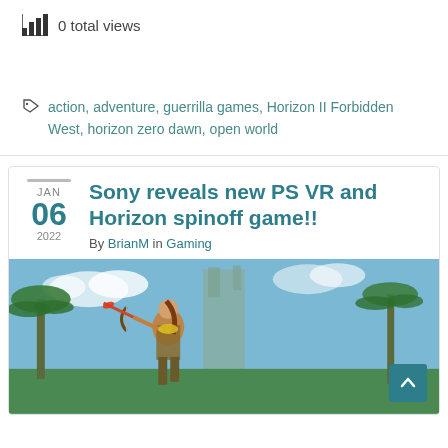0 total views
action, adventure, guerrilla games, Horizon II Forbidden West, horizon zero dawn, open world
Sony reveals new PS VR and Horizon spinoff game!!
By BrianM in Gaming
[Figure (photo): Video game screenshot showing a female character with a bow weapon standing in a tropical environment with palm trees and ruins]